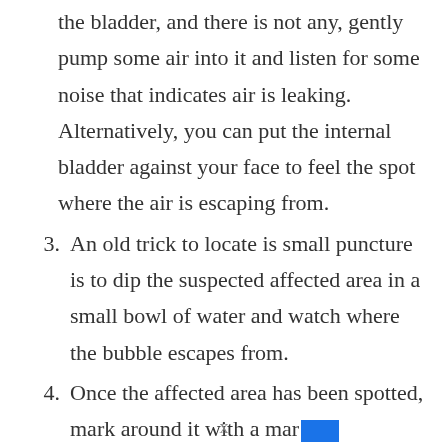the bladder, and there is not any, gently pump some air into it and listen for some noise that indicates air is leaking. Alternatively, you can put the internal bladder against your face to feel the spot where the air is escaping from.
3. An old trick to locate is small puncture is to dip the suspected affected area in a small bowl of water and watch where the bubble escapes from.
4. Once the affected area has been spotted, mark around it with a mark[truncated]